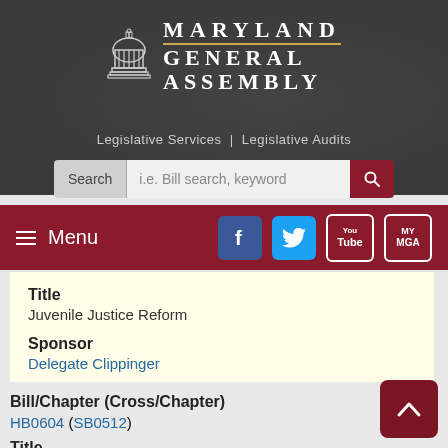[Figure (screenshot): Maryland General Assembly website header with capitol building logo, site title 'MARYLAND GENERAL ASSEMBLY', subtitle 'Legislative Services | Legislative Audits', search bar, navigation menu bar with social media icons (Facebook, Twitter, YouTube, MyMGA)]
Title
Juvenile Justice Reform
Sponsor
Delegate Clippinger
Bill/Chapter (Cross/Chapter)
HB0604 (SB0512)
Title